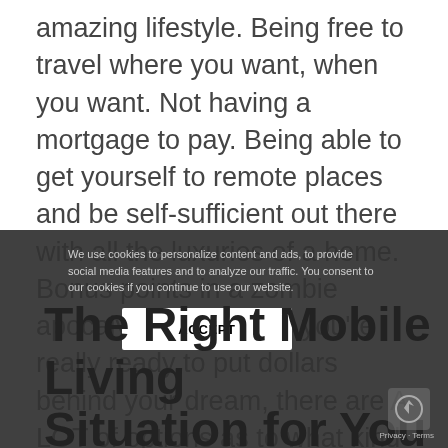amazing lifestyle. Being free to travel where you want, when you want. Not having a mortgage to pay. Being able to get yourself to remote places and be self-sufficient out there with all the luxuries of a home. Bonus points in a zombie apocalypse. But once you're really ready to put dollars behind your dream, there are A LOT of options as to what kind of vehicle or trailer to choose. Personally, I've lived in a car, a van, and a bus, and I've helped build a handful of tiny houses on trailers. I can say without hesitation that the experiences are very, very different.
We use cookies to personalize content and ads, to provide social media features and to analyze our traffic. You consent to our cookies if you continue to use our website.
ACCEPT
The Right Mobile Living Situation for You